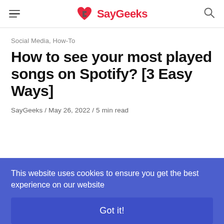SayGeeks
Social Media, How-To
How to see your most played songs on Spotify? [3 Easy Ways]
SayGeeks / May 26, 2022 / 5 min read
This website uses cookies to ensure you get the best experience on our website
Got it!